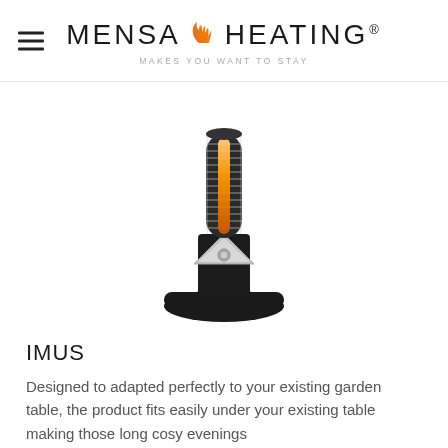MENSA HEATING® MAKES YOU WANT TO STAY
[Figure (photo): Black cylindrical patio/table heater (IMUS) with glowing orange heating element visible through a metal grid cage, chrome reflector cone in the middle, standing on a wide circular black base]
IMUS
Designed to adapted perfectly to your existing garden table, the product fits easily under your existing table making those long cosy evenings